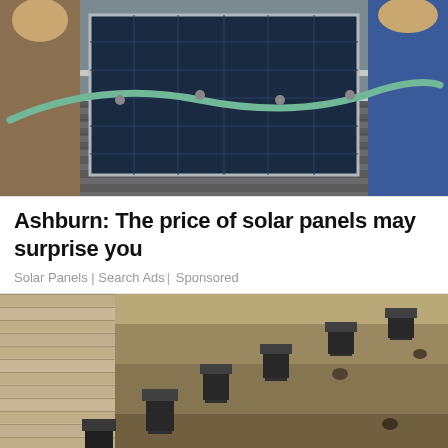[Figure (photo): Workers installing solar panels on a rooftop with green hoses visible]
Ashburn: The price of solar panels may surprise you
Solar Panels | Search Ads | Sponsored
[Figure (photo): Construction excavation site showing foundation anchor bolts along a stone or concrete retaining wall]